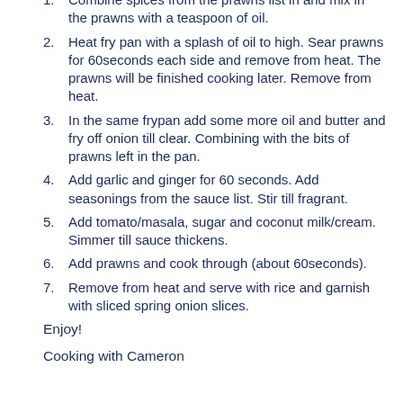1. Combine spices from the prawns list in and mix in the prawns with a teaspoon of oil.
2. Heat fry pan with a splash of oil to high. Sear prawns for 60seconds each side and remove from heat. The prawns will be finished cooking later. Remove from heat.
3. In the same frypan add some more oil and butter and fry off onion till clear. Combining with the bits of prawns left in the pan.
4. Add garlic and ginger for 60 seconds. Add seasonings from the sauce list. Stir till fragrant.
5. Add tomato/masala, sugar and coconut milk/cream. Simmer till sauce thickens.
6. Add prawns and cook through (about 60seconds).
7. Remove from heat and serve with rice and garnish with sliced spring onion slices.
Enjoy!
Cooking with Cameron